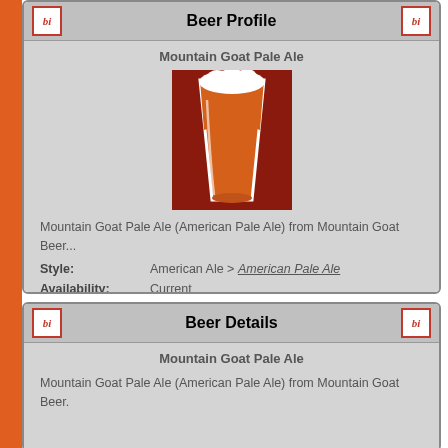Beer Profile
Mountain Goat Pale Ale
[Figure (illustration): Beer glass icon — pint glass with orange/amber beer and white foam head on dark red background]
Mountain Goat Pale Ale (American Pale Ale) from Mountain Goat Beer...
Style: American Ale > American Pale Ale
Availability: Current
Beer Details
Mountain Goat Pale Ale
Mountain Goat Pale Ale (American Pale Ale) from Mountain Goat Beer.